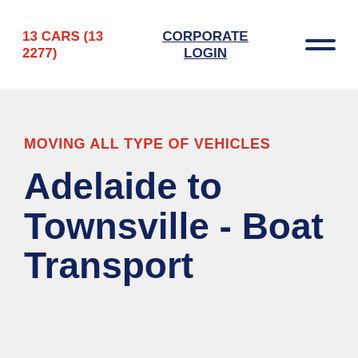13 CARS (13 2277)
CORPORATE LOGIN
MOVING ALL TYPE OF VEHICLES
Adelaide to Townsville - Boat Transport